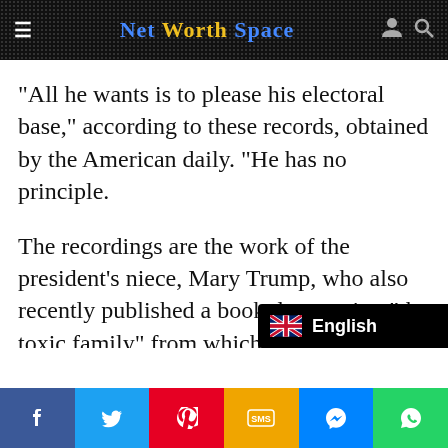Net Worth Space
"All he wants is to please his electoral base," according to these records, obtained by the American daily. “He has no principle.
The recordings are the work of the president's niece, Mary Trump, who also recently published a book denouncing "the toxic family" from which he came
[Figure (screenshot): English language selector overlay with UK flag]
Social share bar: Facebook, Twitter, Pinterest, SMS, Messenger, WhatsApp